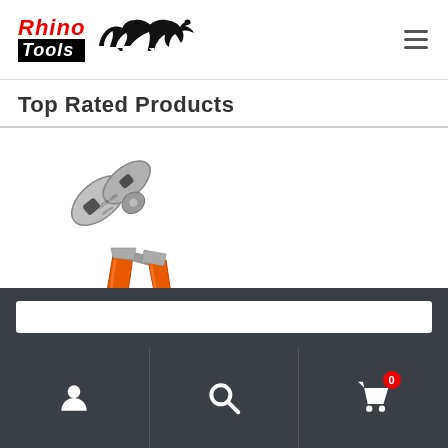Rhino Tools logo with hamburger menu
Top Rated Products
[Figure (photo): Diagonal cutting pliers/wire cutters with orange rubber handles and silver metal head, displayed diagonally on white background]
Footer navigation bar with search input, user icon, search icon, and cart icon with badge showing 0